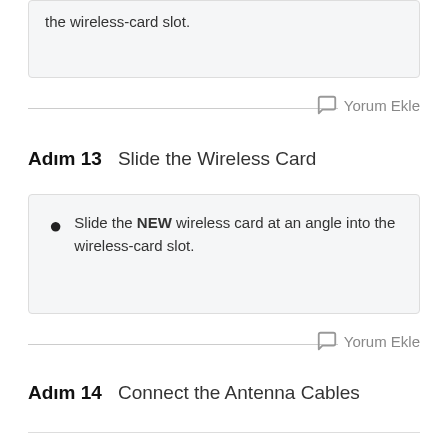the wireless-card slot.
Yorum Ekle
Adım 13    Slide the Wireless Card
Slide the NEW wireless card at an angle into the wireless-card slot.
Yorum Ekle
Adım 14    Connect the Antenna Cables